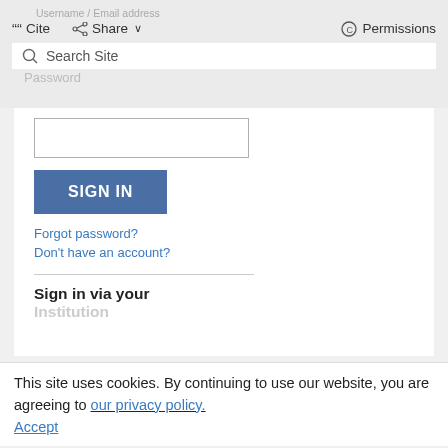Username / Email address
Cite  Share  Permissions
Search Site
Password
[Figure (screenshot): Login form with a text input field for password]
[Figure (screenshot): SIGN IN button (blue)]
Forgot password?
Don't have an account?
Sign in via your Institution
This site uses cookies. By continuing to use our website, you are agreeing to our privacy policy. Accept